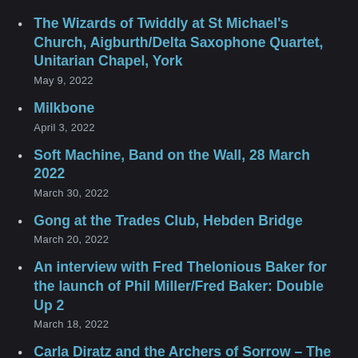The Wizards of Twiddly at St Michael's Church, Aigburth/Delta Saxophone Quartet, Unitarian Chapel, York
May 9, 2022
Milkbone
April 3, 2022
Soft Machine, Band on the Wall, 28 March 2022
March 30, 2022
Gong at the Trades Club, Hebden Bridge
March 20, 2022
An interview with Fred Thelonious Baker for the launch of Phil Miller/Fred Baker: Double Up 2
March 18, 2022
Carla Diratz and the Archers of Sorrow – The